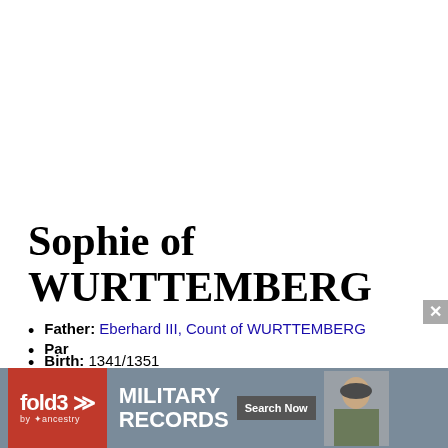Sophie of WURTTEMBERG
Father: Eberhard III, Count of WURTTEMBERG
Birth: 1341/1351
Death: Apr 1369, Stuttgart
[Figure (other): fold3 by Ancestry advertisement banner for Military Records with Search Now button and a photo of a soldier]
Par... (partially visible)